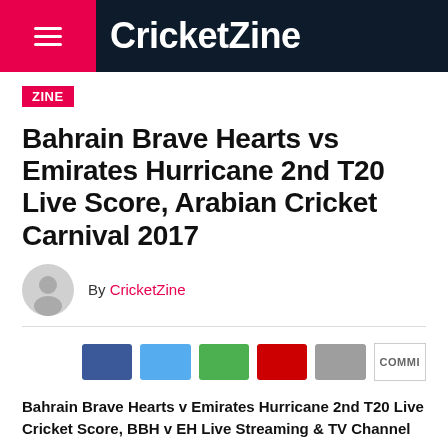CricketZine
ZINE
Bahrain Brave Hearts vs Emirates Hurricane 2nd T20 Live Score, Arabian Cricket Carnival 2017
By CricketZine
Bahrain Brave Hearts v Emirates Hurricane 2nd T20 Live Cricket Score, BBH v EH Live Streaming & TV Channel
ACC – Arabian Cricket Carnival 2017 2nd match between